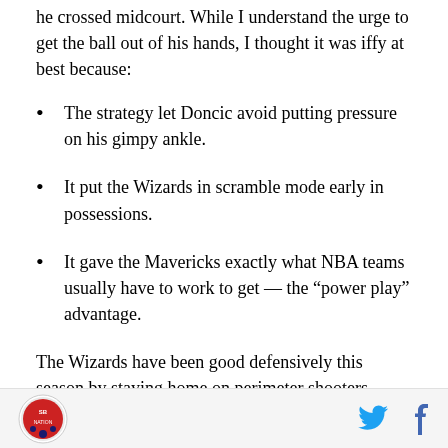he crossed midcourt. While I understand the urge to get the ball out of his hands, I thought it was iffy at best because:
The strategy let Doncic avoid putting pressure on his gimpy ankle.
It put the Wizards in scramble mode early in possessions.
It gave the Mavericks exactly what NBA teams usually have to work to get — the “power play” advantage.
The Wizards have been good defensively this season by staying home on perimeter shooters, staying out of
Logo and social media icons